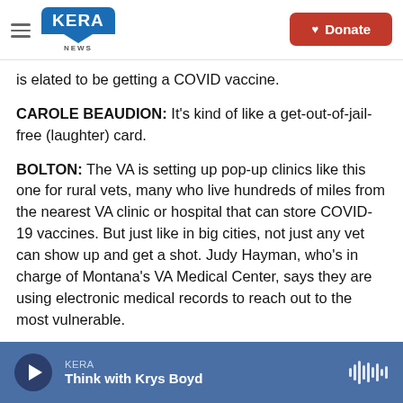KERA NEWS | Donate
is elated to be getting a COVID vaccine.
CAROLE BEAUDION: It's kind of like a get-out-of-jail-free (laughter) card.
BOLTON: The VA is setting up pop-up clinics like this one for rural vets, many who live hundreds of miles from the nearest VA clinic or hospital that can store COVID-19 vaccines. But just like in big cities, not just any vet can show up and get a shot. Judy Hayman, who's in charge of Montana's VA Medical Center, says they are using electronic medical records to reach out to the most vulnerable.
KERA | Think with Krys Boyd